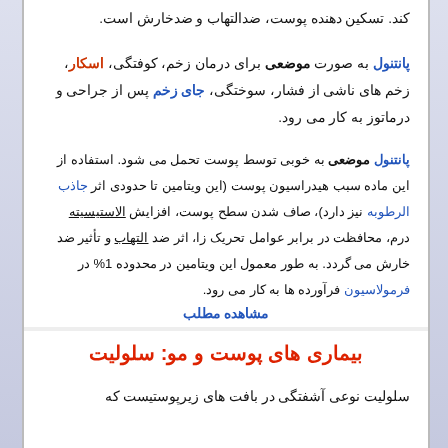کند. تسکین دهنده پوست، ضدالتهاب و ضدخارش است.
پانتنول به صورت موضعی برای درمان زخم، کوفتگی، اسکار، زخم های ناشی از فشار، سوختگی، جای زخم پس از جراحی و درماتوز به کار می رود.
پانتنول موضعی به خوبی توسط پوست تحمل می شود. استفاده از این ماده سبب هیدراسیون پوست (این ویتامین تا حدودی اثر جاذب الرطوبه نیز دارد)، صاف شدن سطح پوست، افزایش الاستیسیته درم، محافظت در برابر عوامل تحریک زا، اثر ضد التهاب و تأثیر ضد خارش می گردد. به طور معمول این ویتامین در محدوده 1% در فرمولاسیون فرآورده ها به کار می رود.
مشاهده مطلب
بیماری های پوست و مو: سلولیت
سلولیت نوعی آشفتگی در بافت های زیرپوستیست که